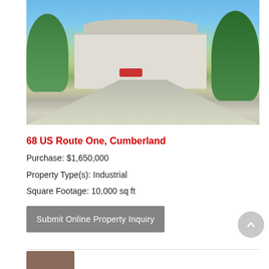[Figure (photo): Exterior photo of commercial industrial building at 68 US Route One, Cumberland. Building has curved/barrel roof, light beige siding with green awnings. Red pickup truck visible in parking area. Surrounded by trees with blue sky background. Driveway/road in foreground.]
68 US Route One, Cumberland
Purchase: $1,650,000
Property Type(s): Industrial
Square Footage: 10,000 sq ft
Submit Online Property Inquiry